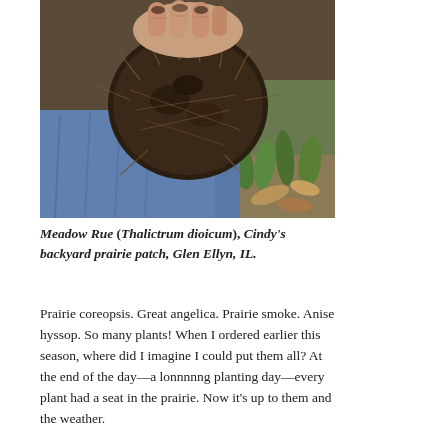[Figure (photo): Close-up photo of a person's hands holding a clump of dark roots and soil from a prairie plant, with blue jeans visible and green grass/leaf litter in the background.]
Meadow Rue (Thalictrum dioicum), Cindy's backyard prairie patch, Glen Ellyn, IL.
Prairie coreopsis. Great angelica. Prairie smoke. Anise hyssop. So many plants! When I ordered earlier this season, where did I imagine I could put them all? At the end of the day—a lonnnnng planting day—every plant had a seat in the prairie. Now it's up to them and the weather.